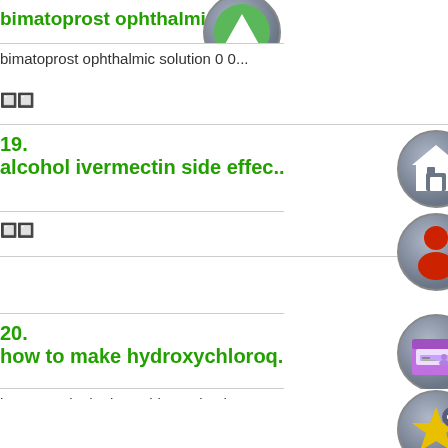bimatoprost ophthalmic solu...
bimatoprost ophthalmic solution 0 0...
🔲🔲
19. alcohol ivermectin side effec...
alcohol ivermectin side effects https...
🔲🔲
20. how to make hydroxychloroq...
how to make hydroxychloroquine ht...